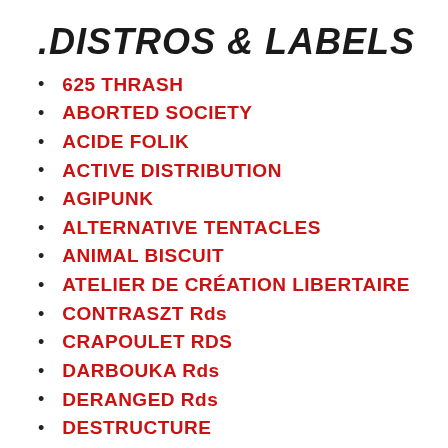.DISTROS & LABELS
625 THRASH
ABORTED SOCIETY
ACIDE FOLIK
ACTIVE DISTRIBUTION
AGIPUNK
ALTERNATIVE TENTACLES
ANIMAL BISCUIT
ATELIER DE CRÉATION LIBERTAIRE
CONTRASZT Rds
CRAPOULET RDS
DARBOUKA Rds
DERANGED Rds
DESTRUCTURE
ET MON CUL C'EST DU TOFU ?